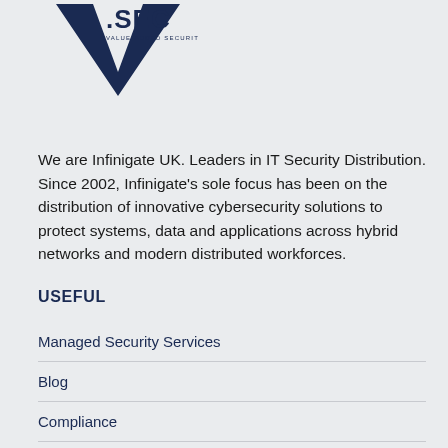[Figure (logo): V.SEC Value-Added Security logo in dark navy blue]
We are Infinigate UK. Leaders in IT Security Distribution. Since 2002, Infinigate's sole focus has been on the distribution of innovative cybersecurity solutions to protect systems, data and applications across hybrid networks and modern distributed workforces.
USEFUL
Managed Security Services
Blog
Compliance
Vendors
IT Security